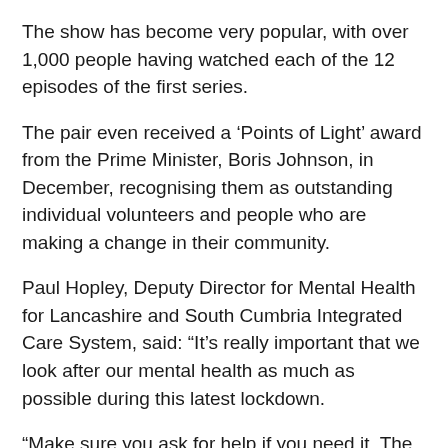The show has become very popular, with over 1,000 people having watched each of the 12 episodes of the first series.
The pair even received a ‘Points of Light’ award from the Prime Minister, Boris Johnson, in December, recognising them as outstanding individual volunteers and people who are making a change in their community.
Paul Hopley, Deputy Director for Mental Health for Lancashire and South Cumbria Integrated Care System, said: “It’s really important that we look after our mental health as much as possible during this latest lockdown.
“Make sure you ask for help if you need it. The NHS is still here for you and there are many services, both NHS and others, that can help to support your mental